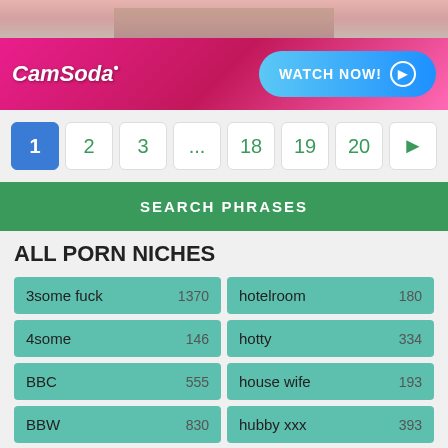[Figure (photo): Top portion of a CamSoda advertisement banner with pink/skin tones visible at top]
[Figure (infographic): CamSoda advertisement banner with logo and WATCH NOW button on pink/magenta gradient background]
Pagination: 1 (active), 2, 3, ..., 18, 19, 20, >
SEARCH PHRASES
ALL PORN NICHES
| Name | Count | Name | Count |
| --- | --- | --- | --- |
| 3some fuck | 1370 | hotelroom | 180 |
| 4some | 146 | hotty | 334 |
| BBC | 555 | house wife | 193 |
| BBW | 830 | hubby xxx | 393 |
| Big Dicks | 990 | huge asses | 982 |